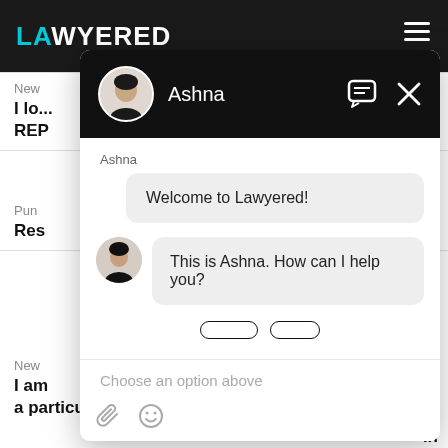LAWYERED
[Figure (screenshot): Chat widget overlay on the Lawyered website. Header shows avatar of Ashna with name 'Ashna' and close/chat icons on dark background. Chat body shows: label 'Ashna', bubble 'Welcome to Lawyered!', then avatar with bubble 'This is Ashna. How can I help you?'. Below are two partially visible option buttons. Input area shows placeholder 'Choose an option above' with paperclip and emoji icons.]
Welcome to Lawyered!
This is Ashna. How can I help you?
Choose an option above
I am in a particular marketspace